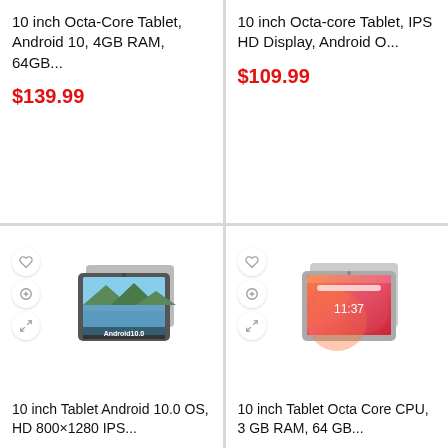10 inch Octa-Core Tablet, Android 10, 4GB RAM, 64GB...
$139.99
10 inch Octa-core Tablet, IPS HD Display, Android O...
$109.99
[Figure (photo): 10 inch Android tablet showing scenic mountain/lake wallpaper with Android10.0 text, with wishlist/action sidebar buttons]
10 inch Tablet Android 10.0 OS, HD 800×1280 IPS...
[Figure (photo): 10 inch tablet showing time 11:37 with colorful orange/pink wallpaper, with wishlist/action sidebar buttons]
10 inch Tablet Octa Core CPU, 3 GB RAM, 64 GB...